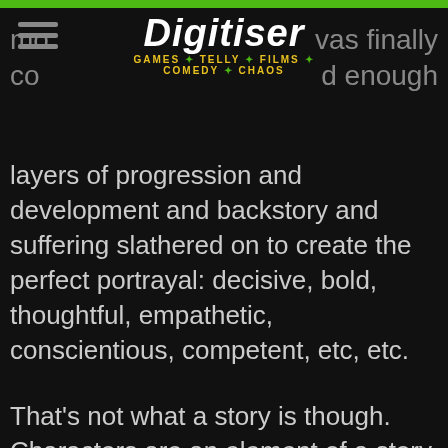Digitiser — GAMES · TELLY · FILMS · COMEDY · CHAOS
more was finally confirmed enough layers of progression and development and backstory and suffering slathered on to create the perfect portrayal: decisive, bold, thoughtful, empathetic, conscientious, competent, etc, etc.
That's not what a story is though. Characters are an element of a story and exist in service of it, not the other way around. We have to grasp them quickly and early so as to understand their disposition to the world they inhabit and their reaction to events that unfold within it. Sure, maybe on the course of the journey they are